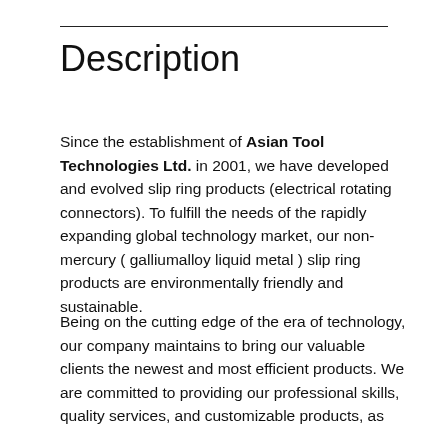Description
Since the establishment of Asian Tool Technologies Ltd. in 2001, we have developed and evolved slip ring products (electrical rotating connectors). To fulfill the needs of the rapidly expanding global technology market, our non-mercury ( galliumalloy liquid metal ) slip ring products are environmentally friendly and sustainable.
Being on the cutting edge of the era of technology, our company maintains to bring our valuable clients the newest and most efficient products. We are committed to providing our professional skills, quality services, and customizable products, as